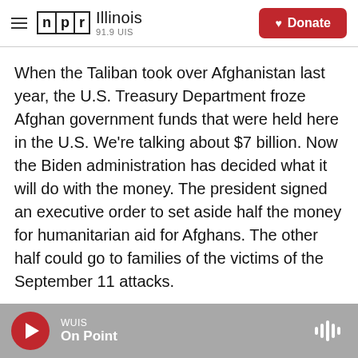NPR Illinois 91.9 UIS — Donate
When the Taliban took over Afghanistan last year, the U.S. Treasury Department froze Afghan government funds that were held here in the U.S. We're talking about $7 billion. Now the Biden administration has decided what it will do with the money. The president signed an executive order to set aside half the money for humanitarian aid for Afghans. The other half could go to families of the victims of the September 11 attacks.

NPR's Michele Kelemen is here with the details. Hi, Michele.
WUIS — On Point